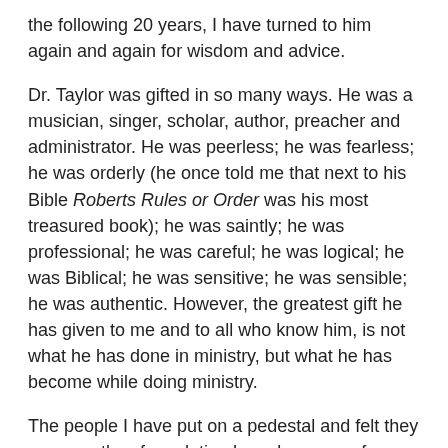the following 20 years, I have turned to him again and again for wisdom and advice.
Dr. Taylor was gifted in so many ways. He was a musician, singer, scholar, author, preacher and administrator. He was peerless; he was fearless; he was orderly (he once told me that next to his Bible Roberts Rules or Order was his most treasured book); he was saintly; he was professional; he was careful; he was logical; he was Biblical; he was sensitive; he was sensible; he was authentic. However, the greatest gift he has given to me and to all who know him, is not what he has done in ministry, but what he has become while doing ministry.
The people I have put on a pedestal and felt they were worthy of emulation have been very few indeed, but Wingrove Taylor is one of them!